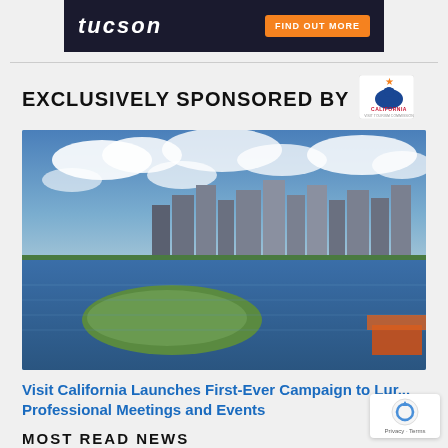[Figure (other): Tucson tourism banner ad with dark background, 'tucson' text in white italic and orange 'FIND OUT MORE' button]
EXCLUSIVELY SPONSORED BY
[Figure (logo): Visit California logo with bear and star]
[Figure (photo): Aerial photo of Long Beach California harbor and marina with city skyline, green peninsula, boats and cloudy sky]
Visit California Launches First-Ever Campaign to Lure Professional Meetings and Events
MOST READ NEWS